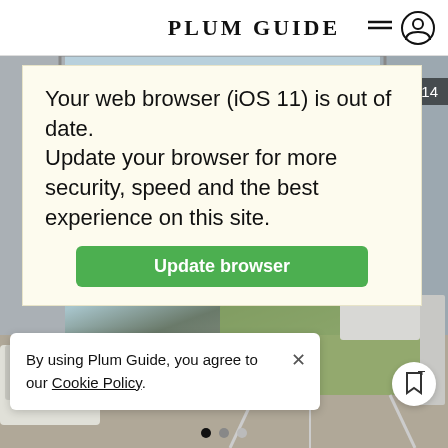PLUM GUIDE
[Figure (photo): Interior photo of a modern apartment with ocean view, showing lounge chairs, a green glass table, and white sofa with teal cushion]
/ 14
Your web browser (iOS 11) is out of date.
Update your browser for more security, speed and the best experience on this site.
Update browser
By using Plum Guide, you agree to our Cookie Policy.